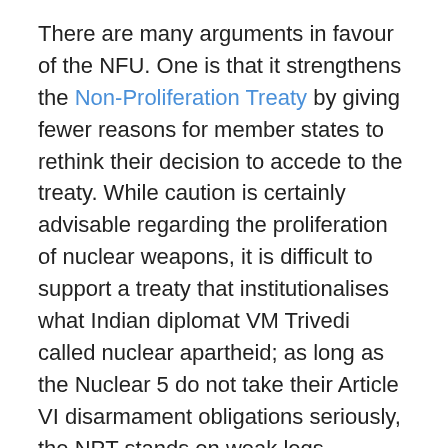There are many arguments in favour of the NFU. One is that it strengthens the Non-Proliferation Treaty by giving fewer reasons for member states to rethink their decision to accede to the treaty. While caution is certainly advisable regarding the proliferation of nuclear weapons, it is difficult to support a treaty that institutionalises what Indian diplomat VM Trivedi called nuclear apartheid; as long as the Nuclear 5 do not take their Article VI disarmament obligations seriously, the NPT stands on weak legs.
Another argument in favour of NFU is that the use of nuclear weapons weakens the nuclear taboo. In a state of crisis, however, one suspects that the weight given to nuclear customs is not much. If such is the faith put in the psychological status of leaders during wartime, an argument can also be made to reverse effect that the use of tactical nuclear weapons will not spiral out of control.